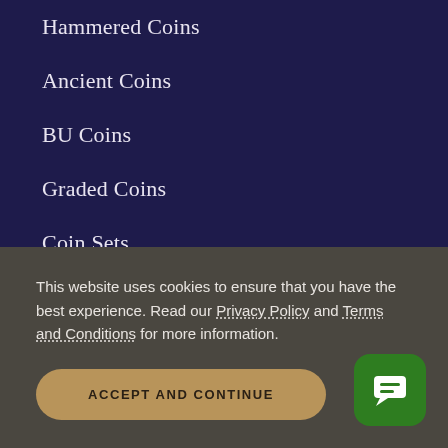Hammered Coins
Ancient Coins
BU Coins
Graded Coins
Coin Sets
World Coins
Medals
Tokens
This website uses cookies to ensure that you have the best experience. Read our Privacy Policy and Terms and Conditions for more information.
ACCEPT AND CONTINUE